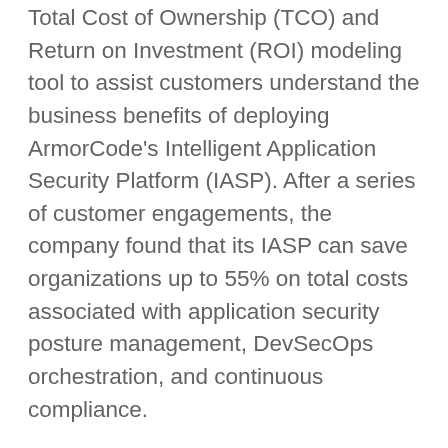Total Cost of Ownership (TCO) and Return on Investment (ROI) modeling tool to assist customers understand the business benefits of deploying ArmorCode's Intelligent Application Security Platform (IASP). After a series of customer engagements, the company found that its IASP can save organizations up to 55% on total costs associated with application security posture management, DevSecOps orchestration, and continuous compliance.
"While traditional TCO and ROI tools are formulated using a businesses' existing capital and operational expenditures, we believe that a true measurement of application security's business value should also include new pathways to